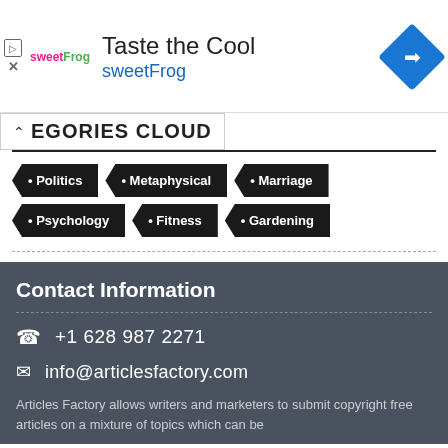[Figure (other): SweetFrog advertisement banner with logo, 'Taste the Cool' headline, 'sweetFrog' subtitle in blue, and a blue diamond direction icon]
CATEGORIES CLOUD
Politics
Metaphysical
Marriage
Psychology
Fitness
Gardening
Contact Information
+1 628 987 2271
info@articlesfactory.com
Articles Factory allows writers and marketers to submit copyright free articles on a mixture of topics which can be